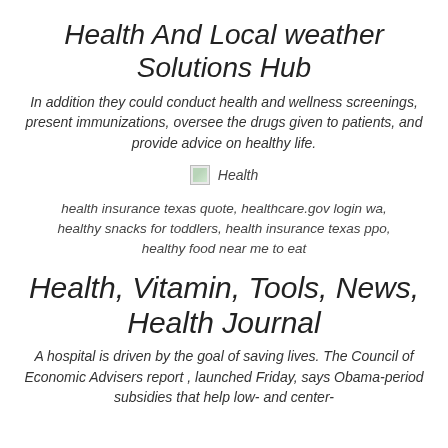Health And Local weather Solutions Hub
In addition they could conduct health and wellness screenings, present immunizations, oversee the drugs given to patients, and provide advice on healthy life.
[Figure (photo): Broken/missing image placeholder with label 'Health']
health insurance texas quote, healthcare.gov login wa, healthy snacks for toddlers, health insurance texas ppo, healthy food near me to eat
Health, Vitamin, Tools, News, Health Journal
A hospital is driven by the goal of saving lives. The Council of Economic Advisers report , launched Friday, says Obama-period subsidies that help low- and center-